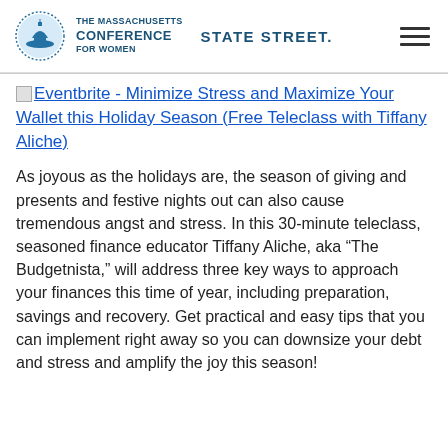THE MASSACHUSETTS CONFERENCE FOR WOMEN | STATE STREET.
Eventbrite - Minimize Stress and Maximize Your Wallet this Holiday Season (Free Teleclass with Tiffany Aliche)
As joyous as the holidays are, the season of giving and presents and festive nights out can also cause tremendous angst and stress. In this 30-minute teleclass, seasoned finance educator Tiffany Aliche, aka "The Budgetnista," will address three key ways to approach your finances this time of year, including preparation, savings and recovery. Get practical and easy tips that you can implement right away so you can downsize your debt and stress and amplify the joy this season!